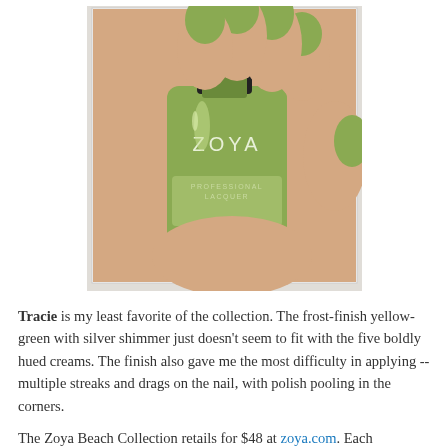[Figure (photo): A hand holding a Zoya professional lacquer nail polish bottle in a yellow-green (lime/olive) color. The nails are painted with the same green polish. The bottle label reads 'ZOYA' and 'PROFESSIONAL LACQUER'.]
Tracie is my least favorite of the collection. The frost-finish yellow-green with silver shimmer just doesn't seem to fit with the five boldly hued creams. The finish also gave me the most difficulty in applying -- multiple streaks and drags on the nail, with polish pooling in the corners.
The Zoya Beach Collection retails for $48 at zoya.com. Each